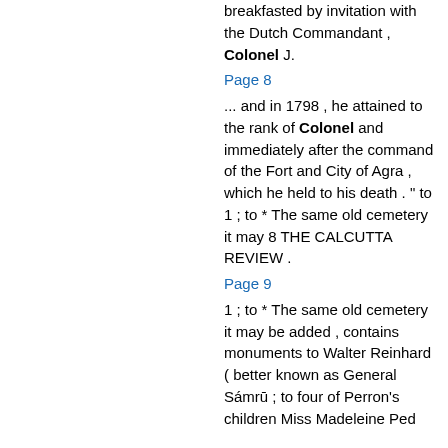breakfasted by invitation with the Dutch Commandant , Colonel J.
Page 8
... and in 1798 , he attained to the rank of Colonel and immediately after the command of the Fort and City of Agra , which he held to his death . " to 1 ; to * The same old cemetery it may 8 THE CALCUTTA REVIEW .
Page 9
1 ; to * The same old cemetery it may be added , contains monuments to Walter Reinhard ( better known as General Sámrū ; to four of Perron's children Miss Madeleine Ped...